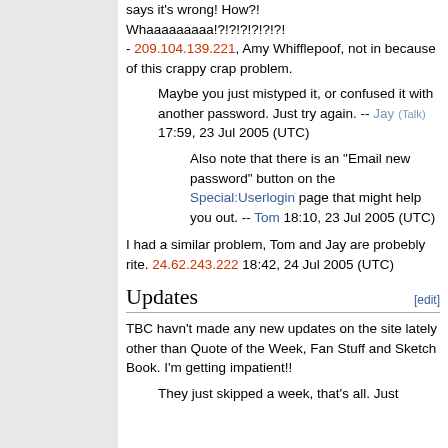says it's wrong! How?! Whaaaaaaaaa!?!?!?!?!?!?!
- 209.104.139.221, Amy Whifflepoof, not in because of this crappy crap problem.
Maybe you just mistyped it, or confused it with another password. Just try again. -- Jay (Talk) 17:59, 23 Jul 2005 (UTC)
Also note that there is an "Email new password" button on the Special:Userlogin page that might help you out. -- Tom 18:10, 23 Jul 2005 (UTC)
I had a similar problem, Tom and Jay are probebly rite. 24.62.243.222 18:42, 24 Jul 2005 (UTC)
Updates
TBC havn't made any new updates on the site lately other than Quote of the Week, Fan Stuff and Sketch Book. I'm getting impatient!!
They just skipped a week, that's all. Just